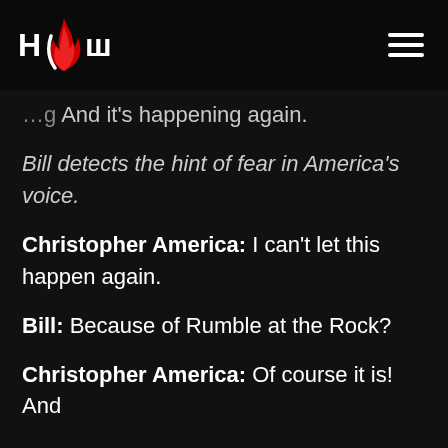HCW (logo with flame)
And it's happening again.
Bill detects the hint of fear in America's voice.
Christopher America: I can't let this happen again.
Bill: Because of Rumble at the Rock?
Christopher America: Of course it is! And